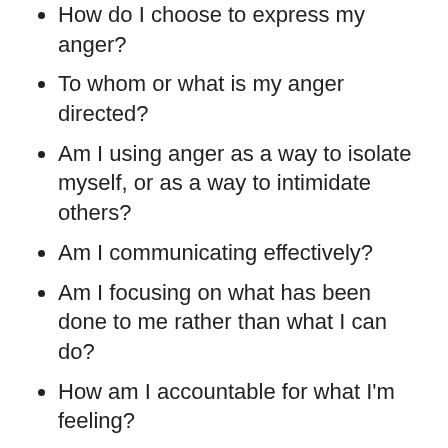How do I choose to express my anger?
To whom or what is my anger directed?
Am I using anger as a way to isolate myself, or as a way to intimidate others?
Am I communicating effectively?
Am I focusing on what has been done to me rather than what I can do?
How am I accountable for what I'm feeling?
How am I accountable for how my anger shows up?
Do my emotions control me, or do I control my emotions?
So what can teens and parents do? Listen to your teen and focus on feelings. Try to understand the situation from his or her perspective. Blaming and accusing only builds up more walls and ends all communication. Tell them how you feel, stick to facts, and deal with the present moment.
Show that you care and show your love. Work towards a